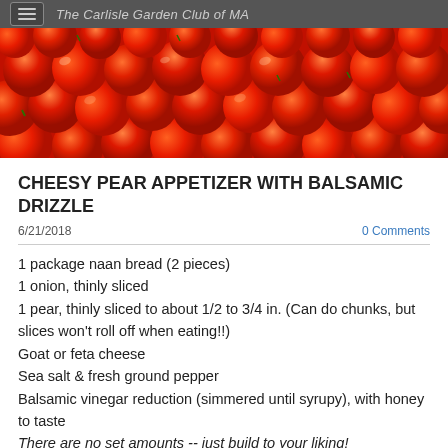The Carlisle Garden Club of MA
[Figure (photo): Close-up of many bright red cherry tomatoes filling the frame]
CHEESY PEAR APPETIZER WITH BALSAMIC DRIZZLE
6/21/2018    0 Comments
1 package naan bread (2 pieces)
1 onion, thinly sliced
1 pear, thinly sliced to about 1/2 to 3/4 in. (Can do chunks, but slices won't roll off when eating!!)
Goat or feta cheese
Sea salt & fresh ground pepper
Balsamic vinegar reduction (simmered until syrupy), with honey to taste
There are no set amounts -- just build to your liking!
Slowly caramelize onion slices in half olive oil / half butter over low heat until golden brown (up to 20